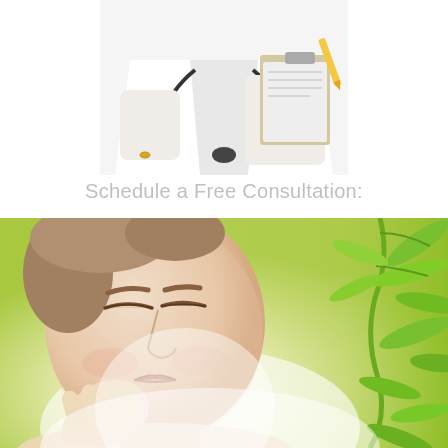[Figure (photo): A doctor or medical professional in a white coat with a stethoscope, writing on a clipboard with a pencil. Only the torso and hands are visible, cropped at the top of the page.]
Schedule a Free Consultation:
[Figure (photo): A serene young woman with closed eyes, touching her neck/jaw with her hand against a soft glowing background with green bamboo leaves on the right side. The image conveys natural skincare and wellness.]